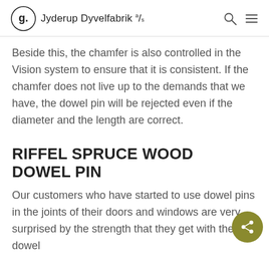Jyderup Dyvelfabrik a/s
Beside this, the chamfer is also controlled in the Vision system to ensure that it is consistent. If the chamfer does not live up to the demands that we have, the dowel pin will be rejected even if the diameter and the length are correct.
RIFFEL SPRUCE WOOD DOWEL PIN
Our customers who have started to use dowel pins in the joints of their doors and windows are very surprised by the strength that they get with the dowel